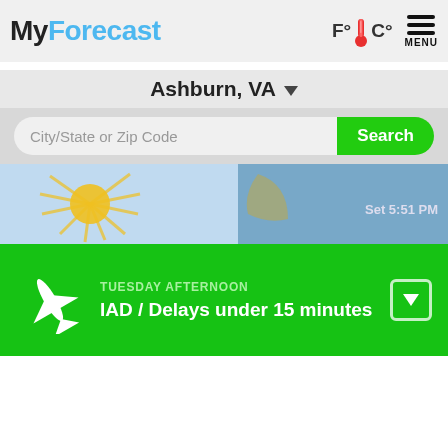MyForecast
Ashburn, VA
City/State or Zip Code
Search
[Figure (screenshot): Partially visible weather card with sun rays graphic and sunset time text 'Set 5:51 PM' on a blue background]
TUESDAY AFTERNOON
IAD / Delays under 15 minutes